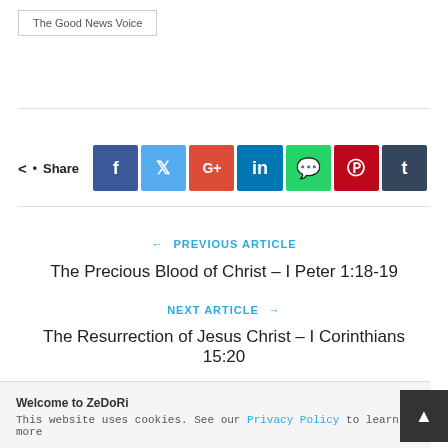The Good News Voice
[Figure (infographic): Social share buttons row: Facebook, Twitter, Google+, LinkedIn, WhatsApp, Pinterest, Tumblr]
← PREVIOUS ARTICLE
The Precious Blood of Christ – I Peter 1:18-19
NEXT ARTICLE →
The Resurrection of Jesus Christ – I Corinthians 15:20
Welcome to ZeDoRi
This website uses cookies. See our Privacy Policy to learn more